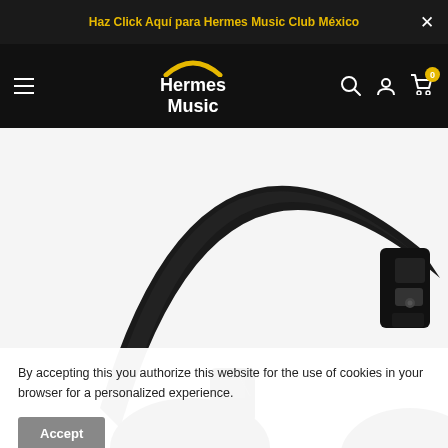Haz Click Aquí para Hermes Music Club México
[Figure (logo): Hermes Music logo with golden arch above white text on black background]
[Figure (photo): Close-up photo of black over-ear DJ headphones showing the headband and earcup hinge]
By accepting this you authorize this website for the use of cookies in your browser for a personalized experience.
Accept